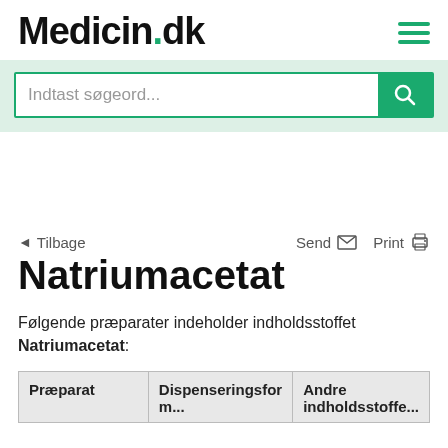Medicin.dk
[Figure (screenshot): Search bar with placeholder text 'Indtast søgeord...' and green search button with magnifying glass icon, on a light green background]
◄ Tilbage    Send ✉    Print 🖨
Natriumacetat
Følgende præparater indeholder indholdsstoffet Natriumacetat:
| Præparat | Dispenseringsfor m... | Andre indholdsstoffe... |
| --- | --- | --- |